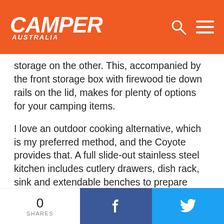CAMPER AUSTRALIA
storage on the other. This, accompanied by the front storage box with firewood tie down rails on the lid, makes for plenty of options for your camping items.
I love an outdoor cooking alternative, which is my preferred method, and the Coyote provides that. A full slide-out stainless steel kitchen includes cutlery drawers, dish rack, sink and extendable benches to prepare meals is a welcome feature. The K9 keeps things simple with a manually retractable awning and entry step. There’s also an outdoor shower to rinse yourself off after your bushwalk or beach day.
FROM WITHIN
Greeting you at the entrance to the Coyote is a blue lit K9 Vans logo cut into the black checkerplate lining of the step.
0 SHARES